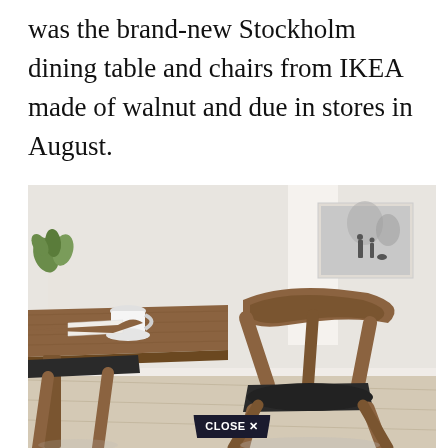was the brand-new Stockholm dining table and chairs from IKEA made of walnut and due in stores in August.
[Figure (photo): IKEA Stockholm dining table and chairs in walnut finish with dark leather seat cushions, set in a bright Scandinavian-style room with white walls, light wood floors, a plant, a white cup on the table, and a framed winter landscape photo on the wall. A 'CLOSE X' button appears at the bottom center.]